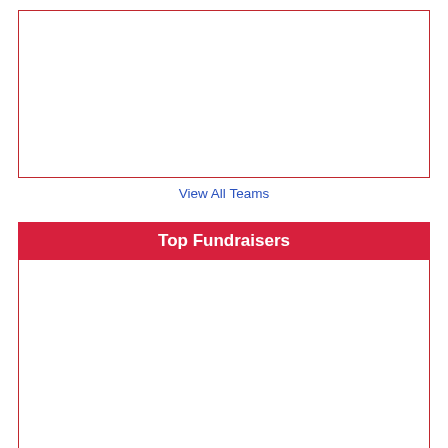[Figure (other): Empty white box with red border, representing a teams leaderboard placeholder]
View All Teams
Top Fundraisers
[Figure (other): Empty white box with red border, representing a top fundraisers leaderboard placeholder]